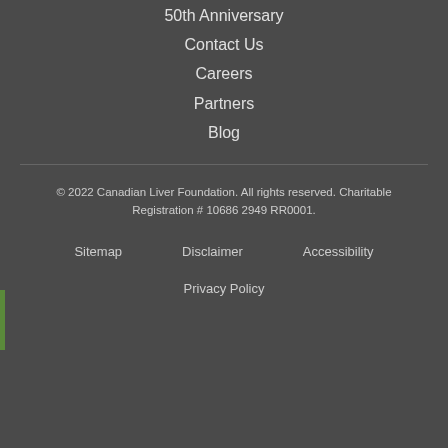50th Anniversary
Contact Us
Careers
Partners
Blog
© 2022 Canadian Liver Foundation. All rights reserved. Charitable Registration # 10686 2949 RR0001.
Sitemap   Disclaimer   Accessibility
Privacy Policy